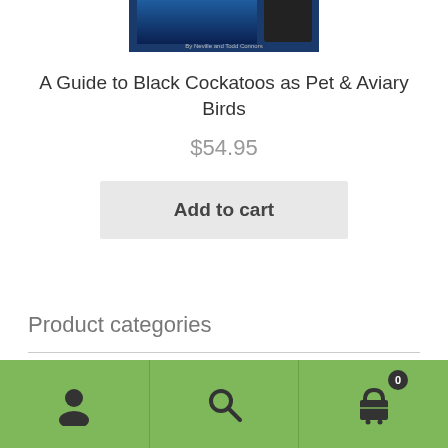[Figure (photo): Partial view of a book cover for 'A Guide to Black Cockatoos as Pet & Aviary Birds', showing the top portion of the book cover with a dark blue background and bird imagery, cropped at the top of the page.]
A Guide to Black Cockatoos as Pet & Aviary Birds
$54.95
Add to cart
Product categories
Bird Behavior & Training
[Figure (infographic): Green bottom navigation bar with three icon buttons: a user/account icon on the left, a search/magnifying glass icon in the center, and a shopping cart icon with a badge showing '0' on the right.]